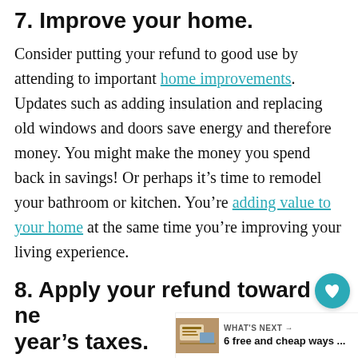7. Improve your home.
Consider putting your refund to good use by attending to important home improvements. Updates such as adding insulation and replacing old windows and doors save energy and therefore money. You might make the money you spend back in savings! Or perhaps it’s time to remodel your bathroom or kitchen. You’re adding value to your home at the same time you’re improving your living experience.
8. Apply your refund toward next year’s taxes.
This tax refund advice is commonly agreed